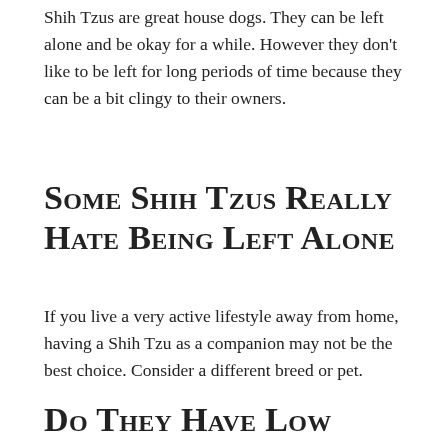Shih Tzus are great house dogs. They can be left alone and be okay for a while. However they don't like to be left for long periods of time because they can be a bit clingy to their owners.
Some Shih Tzus Really Hate Being Left Alone
If you live a very active lifestyle away from home, having a Shih Tzu as a companion may not be the best choice. Consider a different breed or pet.
Do They Have Low